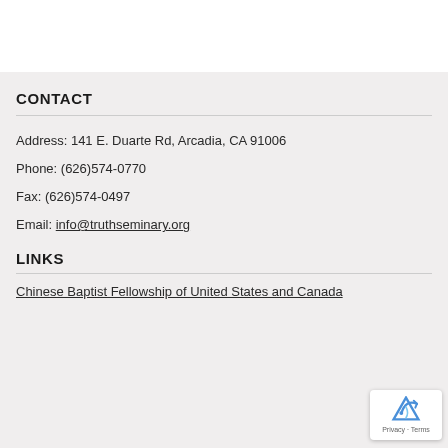CONTACT
Address: 141 E. Duarte Rd, Arcadia, CA 91006
Phone: (626)574-0770
Fax: (626)574-0497
Email: info@truthseminary.org
LINKS
Chinese Baptist Fellowship of United States and Canada